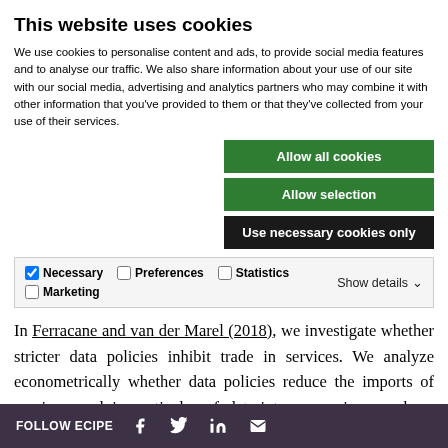This website uses cookies
We use cookies to personalise content and ads, to provide social media features and to analyse our traffic. We also share information about your use of our site with our social media, advertising and analytics partners who may combine it with other information that you've provided to them or that they've collected from your use of their services.
Allow all cookies
Allow selection
Use necessary cookies only
Necessary  Preferences  Statistics  Marketing  Show details
In Ferracane and van der Marel (2018), we investigate whether stricter data policies inhibit trade in services. We analyze econometrically whether data policies reduce the imports of services, and in particular of data-intense services, such as computer services, technical services, intellectual property rights and
FOLLOW ECIPE